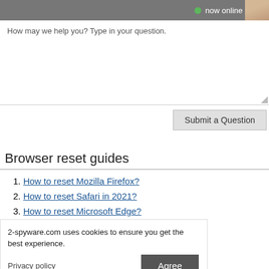now online
How may we help you? Type in your question.
Submit a Question
Browser reset guides
1. How to reset Mozilla Firefox?
2. How to reset Safari in 2021?
3. How to reset Microsoft Edge?
4. How to reset Internet Explorer?
5. How to reset Google Chrome?
2-spyware.com uses cookies to ensure you get the best experience.
Privacy policy
Agree